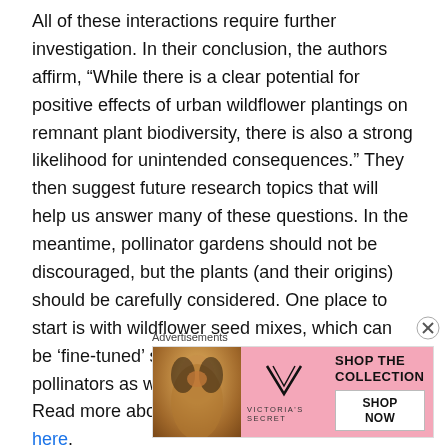All of these interactions require further investigation. In their conclusion, the authors affirm, “While there is a clear potential for positive effects of urban wildflower plantings on remnant plant biodiversity, there is also a strong likelihood for unintended consequences.” They then suggest future research topics that will help us answer many of these questions. In the meantime, pollinator gardens should not be discouraged, but the plants (and their origins) should be carefully considered. One place to start is with wildflower seed mixes, which can be ‘fine-tuned’ so that they benefit our urban pollinators as well as our remnant native plants. Read more about plant selection for pollinators here.
Advertisements
[Figure (photo): Victoria's Secret advertisement banner with a model, Victoria's Secret logo, 'SHOP THE COLLECTION' text, and 'SHOP NOW' button on a pink background.]